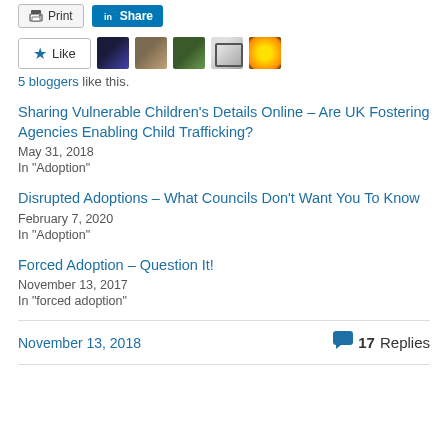[Figure (screenshot): Print and LinkedIn Share buttons]
[Figure (screenshot): Like button with 5 blogger avatar images]
5 bloggers like this.
Sharing Vulnerable Children's Details Online – Are UK Fostering Agencies Enabling Child Trafficking?
May 31, 2018
In "Adoption"
Disrupted Adoptions – What Councils Don't Want You To Know
February 7, 2020
In "Adoption"
Forced Adoption – Question It!
November 13, 2017
In "forced adoption"
November 13, 2018
17 Replies